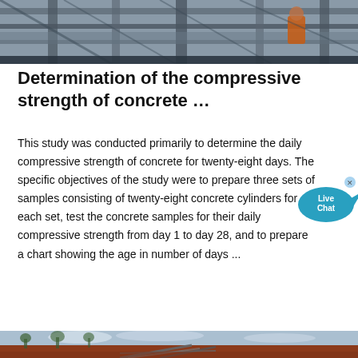[Figure (photo): Industrial construction/mining facility with metal scaffolding, walkways, and a worker in orange vest visible, photographed from below looking up.]
Determination of the compressive strength of concrete …
This study was conducted primarily to determine the daily compressive strength of concrete for twenty-eight days. The specific objectives of the study were to prepare three sets of samples consisting of twenty-eight concrete cylinders for each set, test the concrete samples for their daily compressive strength from day 1 to day 28, and to prepare a chart showing the age in number of days ...
[Figure (photo): Open landscape with red laterite soil, trees in background, and a collapsed or dismantled metal structure/equipment in the foreground under a cloudy sky.]